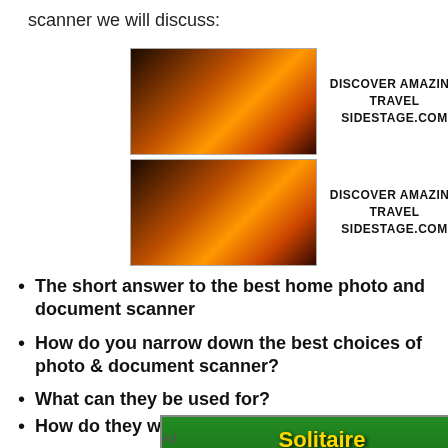scanner we will discuss:
[Figure (screenshot): Two rows of advertisement banners each showing a sunset landscape image on left, text 'DISCOVER AMAZING TRAVEL SIDESTAGE.COM' in center, and another sunset landscape image on right.]
The short answer to the best home photo and document scanner
How do you narrow down the best choices of photo & document scanner?
What can they be used for?
How do they work?
[Figure (screenshot): Solitaire game advertisement banner with green background, gold 'Solitaire' text, flying cards, and a 'Play Now!' button. Next to it is a blue 'Solitaire' link text.]
Ad